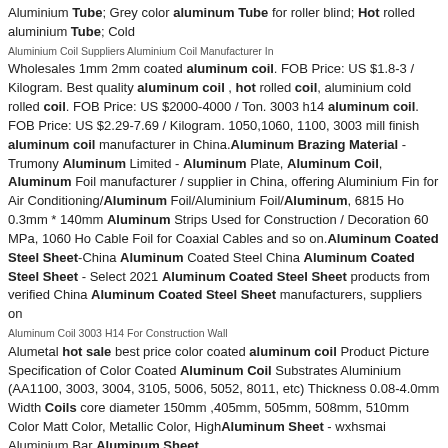Aluminium Tube; Grey color aluminum Tube for roller blind; Hot rolled aluminium Tube; Cold
Aluminium Coil Suppliers Aluminium Coil Manufacturer In
Wholesales 1mm 2mm coated aluminum coil. FOB Price: US $1.8-3 / Kilogram. Best quality aluminum coil , hot rolled coil, aluminium cold rolled coil. FOB Price: US $2000-4000 / Ton. 3003 h14 aluminum coil. FOB Price: US $2.29-7.69 / Kilogram. 1050,1060, 1100, 3003 mill finish aluminum coil manufacturer in China.Aluminum Brazing Material - Trumony Aluminum Limited - Aluminum Plate, Aluminum Coil, Aluminum Foil manufacturer / supplier in China, offering Aluminium Fin for Air Conditioning/Aluminum Foil/Aluminium Foil/Aluminum, 6815 Ho 0.3mm * 140mm Aluminum Strips Used for Construction / Decoration 60 MPa, 1060 Ho Cable Foil for Coaxial Cables and so on.Aluminum Coated Steel Sheet-China Aluminum Coated Steel China Aluminum Coated Steel Sheet - Select 2021 Aluminum Coated Steel Sheet products from verified China Aluminum Coated Steel Sheet manufacturers, suppliers on
Aluminum Coil 3003 H14 For Construction Wall
Alumetal hot sale best price color coated aluminum coil Product Picture Specification of Color Coated Aluminum Coil Substrates Aluminium (AA1100, 3003, 3004, 3105, 5006, 5052, 8011, etc) Thickness 0.08-4.0mm Width Coils core diameter 150mm ,405mm, 505mm, 508mm, 510mm Color Matt Color, Metallic Color, HighAluminum Sheet - wxhsmai Aluminium Bar Aluminum Sheet